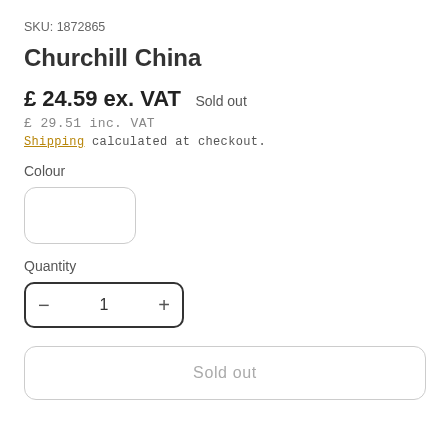SKU: 1872865
Churchill China
£ 24.59 ex. VAT   Sold out
£ 29.51 inc. VAT
Shipping calculated at checkout.
Colour
[Figure (other): Empty colour swatch box with rounded corners and light grey border]
Quantity
[Figure (other): Quantity stepper control with minus button, value 1, and plus button, dark border rounded rectangle]
Sold out